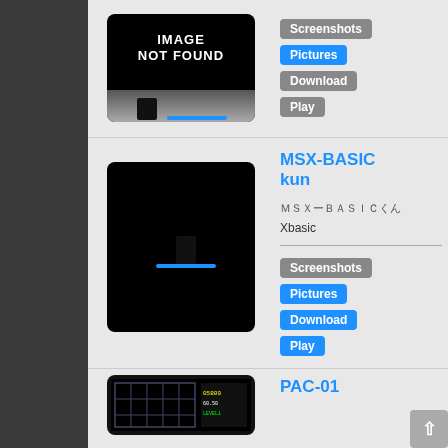[Figure (screenshot): IMAGE NOT FOUND placeholder - black background with white text and figure silhouette at bottom]
Screenshots | Pictures | Download | Play
MSX-BASIC kun
ＭＳＸーＢＡＳＩＣくん
Xbasic
[Figure (screenshot): IMAGE NOT FOUND placeholder - black background with white text and figure silhouette at bottom]
Screenshots | Pictures | Download | Play
PAC-01
[Figure (screenshot): PAC-01 game screenshot showing maze-like game screen]